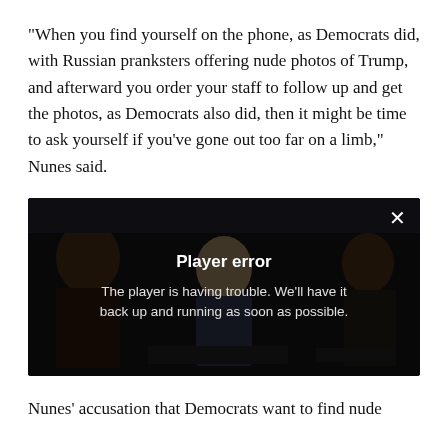"When you find yourself on the phone, as Democrats did, with Russian pranksters offering nude photos of Trump, and afterward you order your staff to follow up and get the photos, as Democrats also did, then it might be time to ask yourself if you've gone out too far on a limb," Nunes said.
[Figure (screenshot): Video player showing a man in a suit at what appears to be a congressional hearing, with a 'Player error' overlay message reading: 'The player is having trouble. We'll have it back up and running as soon as possible.' A close (X) button appears in the top right corner.]
Nunes' accusation that Democrats want to find nude